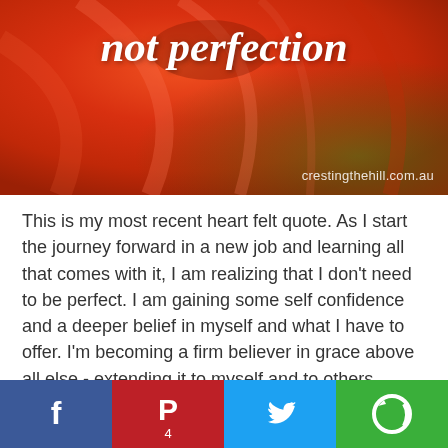[Figure (photo): Close-up photo of a red/orange poppy flower petal with the italic text 'not perfection' overlaid in white, and watermark 'crestingthehill.com.au' in lower right]
This is my most recent heart felt quote. As I start the journey forward in a new job and learning all that comes with it, I am realizing that I don't need to be perfect. I am gaining some self confidence and a deeper belief in myself and what I have to offer. I'm becoming a firm believer in grace above all else - extending it to myself and to others around me.
If you are a fan of quotations too I'd love you to share your favourites in the comments section. I also have a quote of the
[Figure (infographic): Social sharing bar with four buttons: Facebook (blue), Pinterest (red, badge count 4), Twitter (light blue), and a green More/share button]